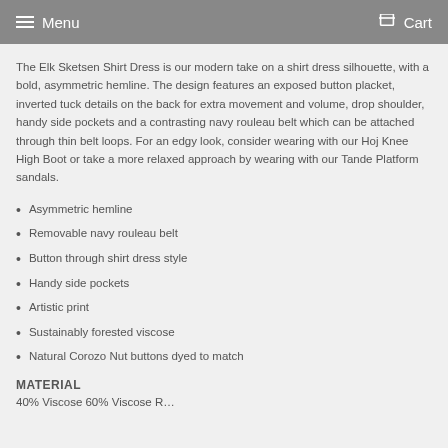Menu  Cart
The Elk Sketsen Shirt Dress is our modern take on a shirt dress silhouette, with a bold, asymmetric hemline. The design features an exposed button placket, inverted tuck details on the back for extra movement and volume, drop shoulder, handy side pockets and a contrasting navy rouleau belt which can be attached through thin belt loops. For an edgy look, consider wearing with our Hoj Knee High Boot or take a more relaxed approach by wearing with our Tande Platform sandals.
Asymmetric hemline
Removable navy rouleau belt
Button through shirt dress style
Handy side pockets
Artistic print
Sustainably forested viscose
Natural Corozo Nut buttons dyed to match
MATERIAL
40% Viscose 60% Viscose R…